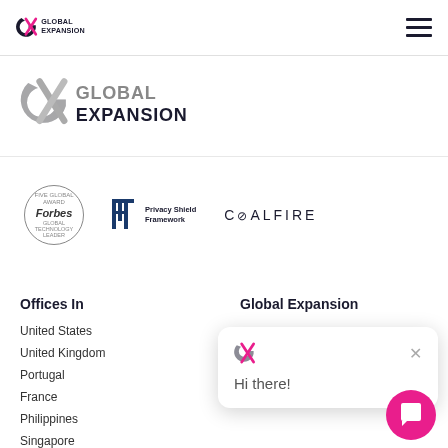[Figure (logo): Global Expansion GX logo in navigation bar, top left, with hamburger menu icon top right]
[Figure (logo): Global Expansion GX logo, large version in main content area]
[Figure (logo): Forbes badge (circular), Privacy Shield Framework badge, Coalfire logo]
Offices In
United States
United Kingdom
Portugal
France
Philippines
Singapore
Global Expansion
Our Technology
[Figure (screenshot): Chat popup overlay with GX logo, Hi there! greeting, close button, and pink chat bubble button in bottom right]